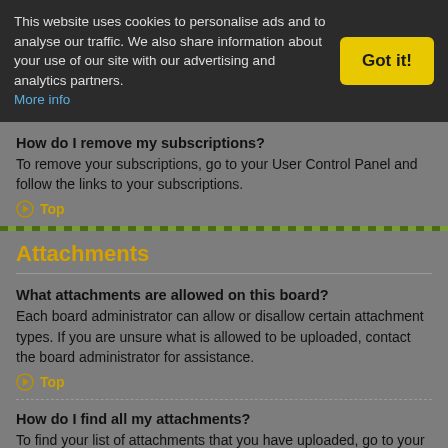This website uses cookies to personalise ads and to analyse our traffic. We also share information about your use of our site with our advertising and analytics partners. More info
Got it!
How do I remove my subscriptions?
To remove your subscriptions, go to your User Control Panel and follow the links to your subscriptions.
Top
Attachments
What attachments are allowed on this board?
Each board administrator can allow or disallow certain attachment types. If you are unsure what is allowed to be uploaded, contact the board administrator for assistance.
Top
How do I find all my attachments?
To find your list of attachments that you have uploaded, go to your User Control Panel and follow the links to the attachments section.
Top